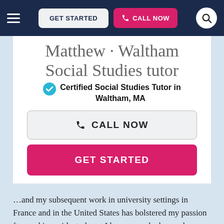GET STARTED  CALL NOW
Matthew · Waltham Social Studies tutor
✓ Certified Social Studies Tutor in Waltham, MA
CALL NOW
GET STARTED
…and my subsequent work in university settings in France and in the United States has bolstered my passion for working with students. I have earned advanced degrees in French and History at New York